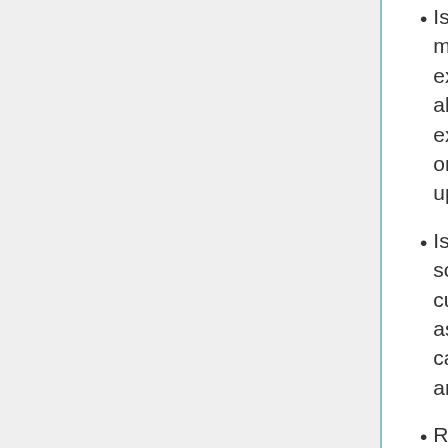Is able to make meaning out of experience; and the ability to synthesise experience, models or frameworks, and update perspectives
Is able to see social, historical and cultural constructs as constructs which can change, adapt and collapse
Recognises the subjective, partial and provisional nature of all views
Is able to critically reflect - particularly on assumptions and